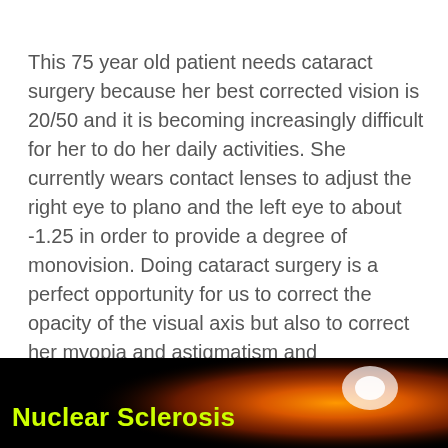This 75 year old patient needs cataract surgery because her best corrected vision is 20/50 and it is becoming increasingly difficult for her to do her daily activities. She currently wears contact lenses to adjust the right eye to plano and the left eye to about -1.25 in order to provide a degree of monovision. Doing cataract surgery is a perfect opportunity for us to correct the opacity of the visual axis but also to correct her myopia and astigmatism and permanently give her monovision without the hassle of contact lenses. But she refuses. Why?
[Figure (photo): Dark background image with yellow bold text 'Nuclear Sclerosis' on the lower left, and an orange/warm-toned glowing visual element on the right side, likely a slit lamp or eye image.]